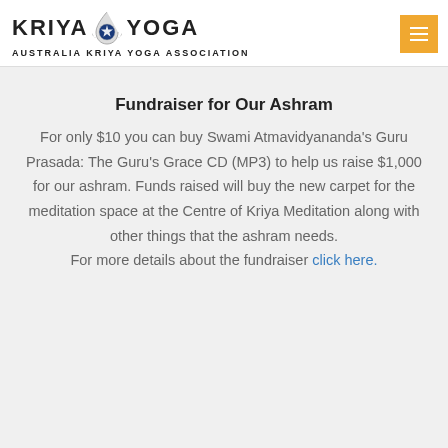[Figure (logo): Kriya Yoga Australia Kriya Yoga Association logo with emblem]
Fundraiser for Our Ashram
For only $10 you can buy Swami Atmavidyananda's Guru Prasada: The Guru's Grace CD (MP3) to help us raise $1,000 for our ashram. Funds raised will buy the new carpet for the meditation space at the Centre of Kriya Meditation along with other things that the ashram needs. For more details about the fundraiser click here.